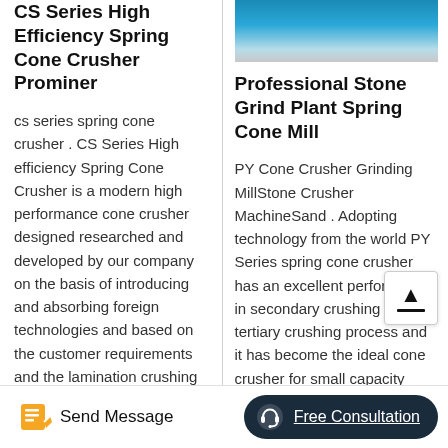CS Series High Efficiency Spring Cone Crusher Prominer
cs series spring cone crusher . CS Series High efficiency Spring Cone Crusher is a modern high performance cone crusher designed researched and developed by our company on the basis of introducing and absorbing foreign technologies and based on the customer requirements and the lamination crushing
[Figure (photo): Photo of industrial equipment, blue cone crusher machine]
Professional Stone Grind Plant Spring Cone Mill
PY Cone Crusher Grinding MillStone Crusher MachineSand . Adopting technology from the world PY Series spring cone crusher has an excellent performance in secondary crushing and tertiary crushing process and it has become the ideal cone crusher for small capacity
Send Message | Free Consultation